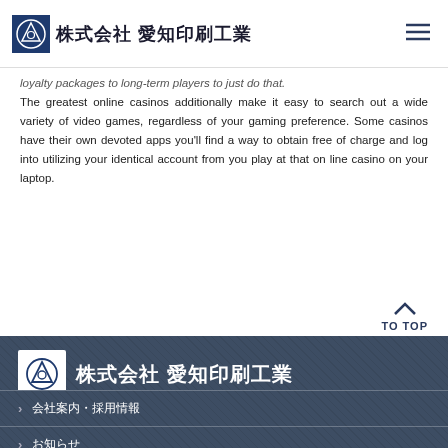株式会社 愛知印刷工業
loyalty packages to long-term players to just do that.
The greatest online casinos additionally make it easy to search out a wide variety of video games, regardless of your gaming preference. Some casinos have their own devoted apps you'll find a way to obtain free of charge and log into utilizing your identical account from you play at that on line casino on your laptop.
TO TOP
[Figure (logo): 株式会社 愛知印刷工業 footer logo with company icon and Japanese text]
〒476-0002 愛知県知多郡阿久比町 52番1
会社案内・採用情報
お知らせ